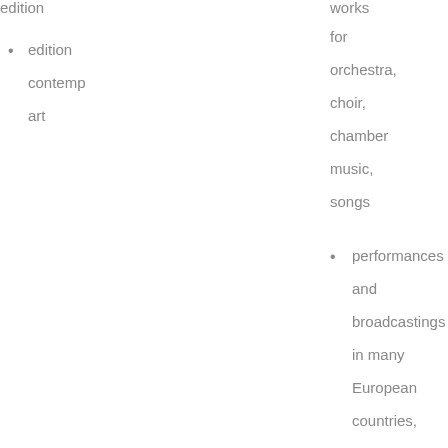edition contemp art
works for orchestra, choir, chamber music, songs
performances and broadcastings in many European countries,